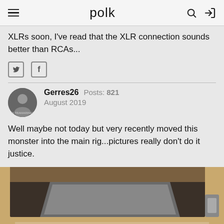polk
XLRs soon, I've read that the XLR connection sounds better than RCAs...
Gerres26  Posts: 821
August 2019
Well maybe not today but very recently moved this monster into the main rig...pictures really don't do it justice.
[Figure (photo): Photo of audio equipment inside a wooden cabinet, showing a device with 'TRI-VISTA' label visible at the bottom]